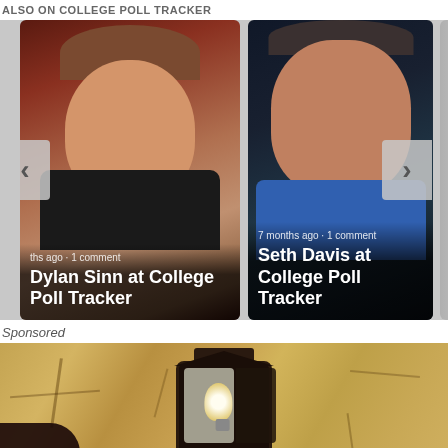ALSO ON COLLEGE POLL TRACKER
[Figure (photo): Carousel with two article cards. Card 1: photo of Dylan Sinn, a young man with short reddish-brown hair in a suit, with overlay text 'ths ago · 1 comment' and title 'Dylan Sinn at College Poll Tracker'. Card 2: photo of Seth Davis, a middle-aged man in a blue shirt and red tie, with overlay text '7 months ago · 1 comment' and title 'Seth Davis at College Poll Tracker'. Navigation arrows on left and right sides.]
Sponsored
[Figure (photo): Close-up photo of a rustic outdoor wall lantern mounted on a rough stucco/stone wall. The lantern has a dark iron frame with a glass panel showing a white light bulb inside.]